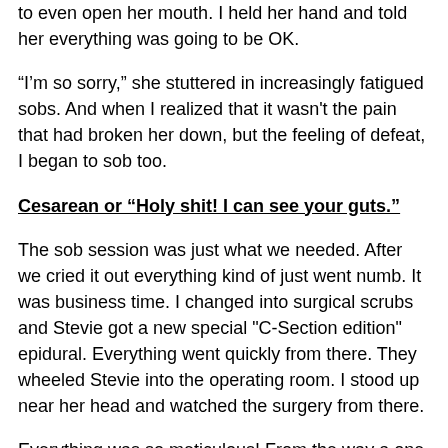to even open her mouth. I held her hand and told her everything was going to be OK.
“I’m so sorry,” she stuttered in increasingly fatigued sobs. And when I realized that it wasn't the pain that had broken her down, but the feeling of defeat, I began to sob too.
Cesarean or “Holy shit! I can see your guts.”
The sob session was just what we needed. After we cried it out everything kind of just went numb. It was business time. I changed into surgical scrubs and Stevie got a new special "C-Section edition" epidural. Everything went quickly from there. They wheeled Stevie into the operating room. I stood up near her head and watched the surgery from there.
Everything was so meticulous! From the way a one of the doctors put on Dr. Roth’s coat, to the way he approached the table. It was all so deliberately done...